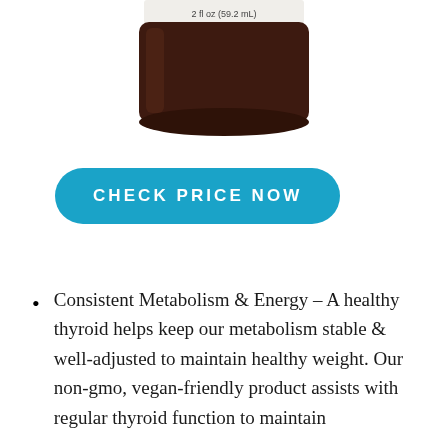[Figure (photo): Partial view of a dark amber glass supplement bottle with a label showing '2 fl oz (59.2 mL)', cropped so only the bottom portion of the bottle is visible against a white background.]
CHECK PRICE NOW
Consistent Metabolism & Energy – A healthy thyroid helps keep our metabolism stable & well-adjusted to maintain healthy weight. Our non-gmo, vegan-friendly product assists with regular thyroid function to maintain